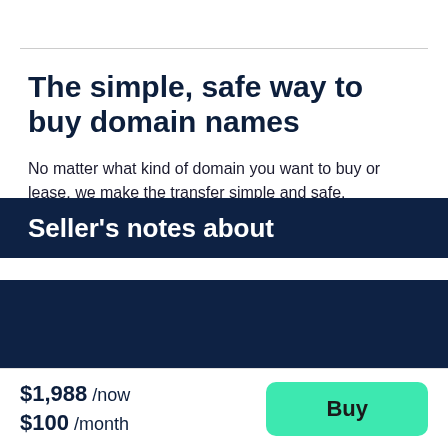The simple, safe way to buy domain names
No matter what kind of domain you want to buy or lease, we make the transfer simple and safe.
Here's how it works
Seller's notes about
$1,988 /now $100 /month
Buy